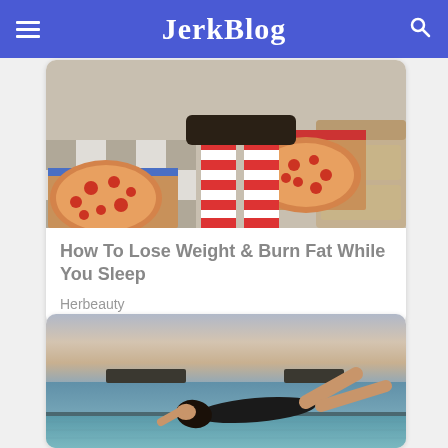JerkBlog
[Figure (photo): Person lying on couch with striped red and white socks, two open pizza boxes with pizzas on a checkered floor]
How To Lose Weight & Burn Fat While You Sleep
Herbeauty
[Figure (photo): Woman in black swimsuit lying on the edge of an infinity pool overlooking the ocean at dusk]